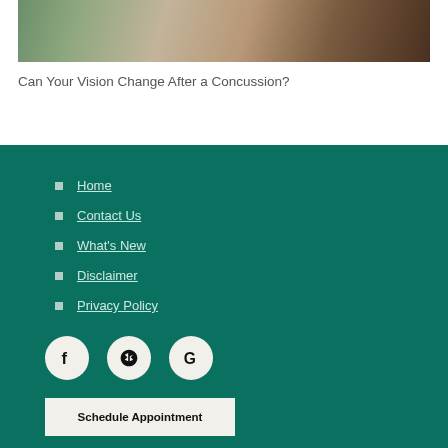[Figure (photo): Close-up photo of hands, possibly a medical or lifestyle context, with greenery visible]
Can Your Vision Change After a Concussion?
Home
Contact Us
What's New
Disclaimer
Privacy Policy
[Figure (illustration): Social media icons: Facebook, Yelp, Google]
Schedule Appointment